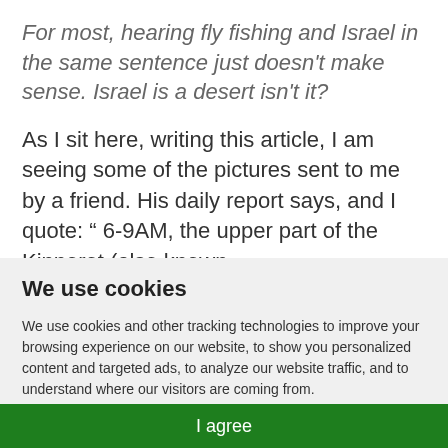For most, hearing fly fishing and Israel in the same sentence just doesn't make sense. Israel is a desert isn't it?
As I sit here, writing this article, I am seeing some of the pictures sent to me by a friend. His daily report says, and I quote: " 6-9AM, the upper part of the Kinneret (also known
We use cookies
We use cookies and other tracking technologies to improve your browsing experience on our website, to show you personalized content and targeted ads, to analyze our website traffic, and to understand where our visitors are coming from.
I agree